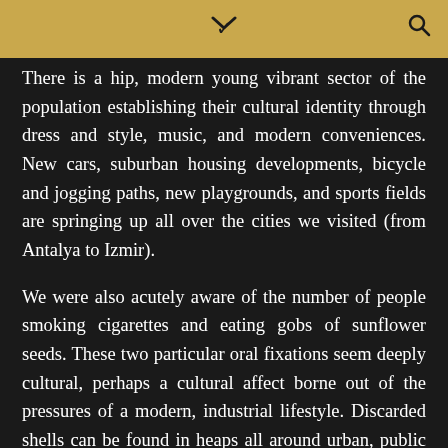There is a hip, modern young vibrant sector of the population establishing their cultural identity through dress and style, music, and modern conveniences. New cars, suburban housing developments, bicycle and jogging paths, new playgrounds, and sports fields are springing up all over the cities we visited (from Antalya to Izmir).
We were also acutely aware of the number of people smoking cigarettes and eating gobs of sunflower seeds. These two particular oral fixations seem deeply cultural, perhaps a cultural affect borne out of the pressures of a modern, industrial lifestyle. Discarded shells can be found in heaps all around urban, public spaces, especially parks. Folks nibble at them ferociously, like squirrels getting ready for winter. We marveled at the Turks' agility and ease to remove the shell from the seed with nothing more than their tongue, lips, and teeth. And all for a tiny little